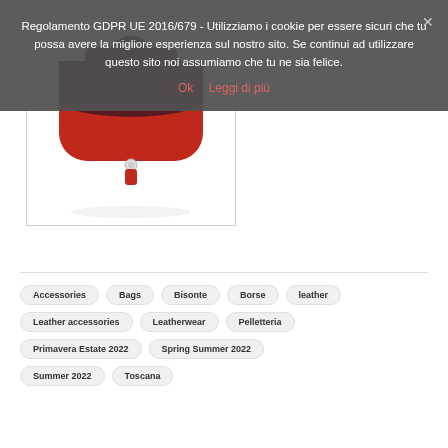Regolamento GDPR UE 2016/679 - Utilizziamo i cookie per essere sicuri che tu possa avere la migliore esperienza sul nostro sito. Se continui ad utilizzare questo sito noi assumiamo che tu ne sia felice.
Ok   Leggi di più
[Figure (photo): Red and dark burgundy leather satchel handbag with a single handle and a button clasp, photographed against a white background.]
Accessories
Bags
Bisonte
Borse
leather
Leather accessories
Leatherwear
Pelletteria
Primavera Estate 2022
Spring Summer 2022
Summer 2022
Toscana